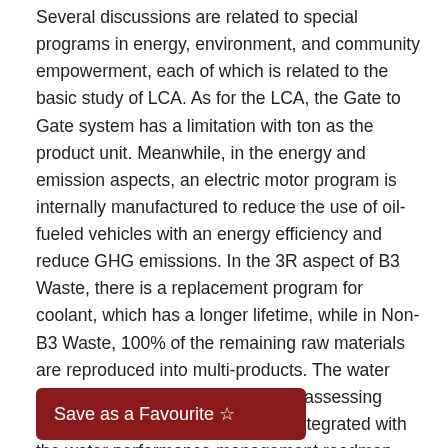Several discussions are related to special programs in energy, environment, and community empowerment, each of which is related to the basic study of LCA. As for the LCA, the Gate to Gate system has a limitation with ton as the product unit. Meanwhile, in the energy and emission aspects, an electric motor program is internally manufactured to reduce the use of oil-fueled vehicles with an energy efficiency and reduce GHG emissions. In the 3R aspect of B3 Waste, there is a replacement program for coolant, which has a longer lifetime, while in Non-B3 Waste, 100% of the remaining raw materials are reproduced into multi-products. The water efficiency aspect focuses more on assessing water use and potential leakage, integrated with the water performance management roadmap. Meanwhile, in reducing the wastewater load, the unit is rejuvenated to optimize the wastewater treatment, reflected LCA valuation.
Save as a Favourite ☆